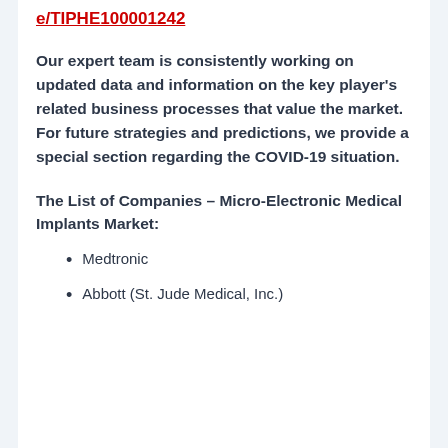e/TIPHE100001242
Our expert team is consistently working on updated data and information on the key player’s related business processes that value the market. For future strategies and predictions, we provide a special section regarding the COVID-19 situation.
The List of Companies – Micro-Electronic Medical Implants Market:
Medtronic
Abbott (St. Jude Medical, Inc.)